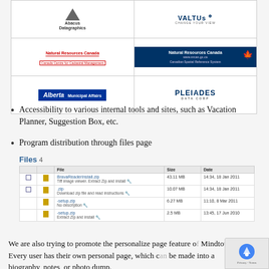[Figure (other): Grid of sponsor/partner logos: Abacus Datagraphics, VALTUS, Natural Resources Canada (text), Natural Resources Canada (banner with maple leaf), Alberta Municipal Affairs, PLEIADES DATA CORP]
Accessibility to various internal tools and sites, such as Vacation Planner, Suggestion Box, etc.
Program distribution through files page
[Figure (screenshot): Files section showing a table with 4 files: BravaReaderInstall.zip (43.11 MB, 14:34 18 Jan 2011), .zip file (10.07 MB, 14:34 18 Jan 2011), -setup.zip (6.27 MB, 11:10 8 Mar 2011), -setup.zip (2.5 MB, 13:45 17 Jun 2010)]
We are also trying to promote the personalize page feature of Mindtouch. Every user has their own personal page, which can be made into a biography, notes, or photo dump.